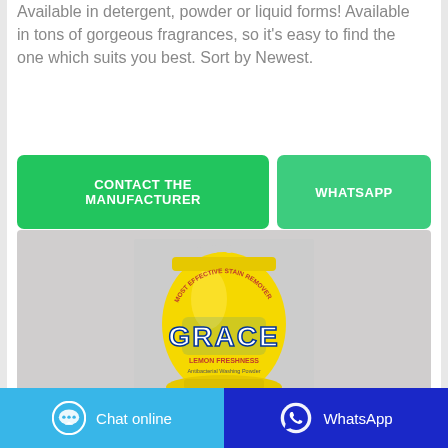Available in detergent, powder or liquid forms! Available in tons of gorgeous fragrances, so it's easy to find the one which suits you best. Sort by Newest.
[Figure (other): Two call-to-action buttons: green 'CONTACT THE MANUFACTURER' button and lighter green 'WHATSAPP' button]
[Figure (photo): Yellow bag of Grace Lemon Freshness washing powder/detergent on a grey background]
[Figure (other): Footer bar with two buttons: blue 'Chat online' with chat bubble icon on left, dark blue 'WhatsApp' with WhatsApp icon on right]